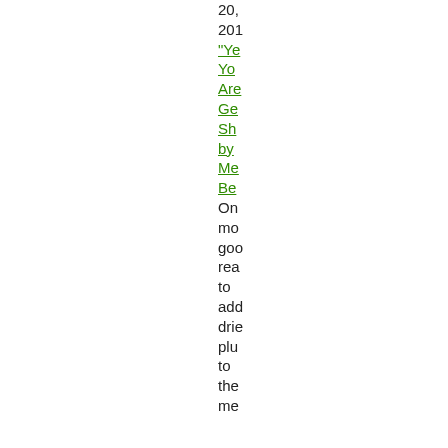20, 201 "Ye Yo Are Ge Sh by Me Be On mo goo rea to add drie plu to the me